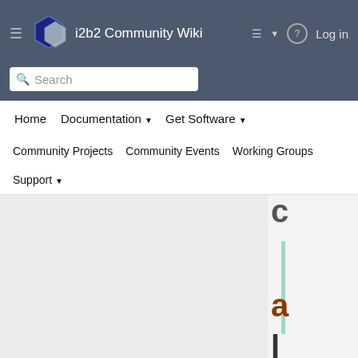i2b2 Community Wiki
Search
Home   Documentation   Get Software   Community Projects   Community Events   Working Groups   Support